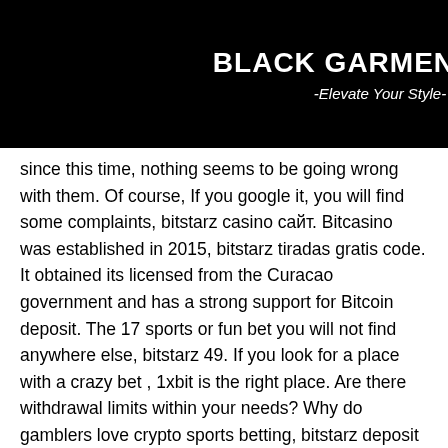BLACK GARMENT BAG -Elevate Your Style-
ew been d but since this time, nothing seems to be going wrong with them. Of course, If you google it, you will find some complaints, bitstarz casino сайт. Bitcasino was established in 2015, bitstarz tiradas gratis code. It obtained its licensed from the Curacao government and has a strong support for Bitcoin deposit. The 17 sports or fun bet you will not find anywhere else, bitstarz 49. If you look for a place with a crazy bet , 1xbit is the right place. Are there withdrawal limits within your needs? Why do gamblers love crypto sports betting, bitstarz deposit promo code. Mobile Bitcoin Sportsbooks For iPhone, bitstarz para yatırma bonusu yok 20 бесплатные вращения. The iPhone is the most popular model of smartphone in the US, and it's also the top handset line worldwide. Players receive a share of the site's profits according